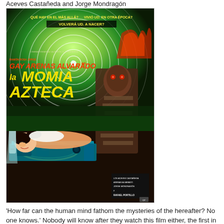Aceves Castañeda and Jorge Mondragón
[Figure (photo): Movie poster for 'La Momia Azteca' (The Aztec Mummy), a Mexican horror film. The poster features bold yellow text reading 'la MOMIA AZTECA', red text with cast names including Gay, Arenas, Alvarado, concentric spiral circles in the background, a monstrous mummy figure, and a woman lying down in the foreground. Top text reads 'QUE HAY EN EL MAS ALLA? VIVIO UD. EN OTRA EPOCA? VOLVERA UD. A NACER?' in yellow on dark background.]
'How far can the human mind fathom the mysteries of the hereafter? No one knows.' Nobody will know after they watch this film either, the first in a trilogy of Aztec mummy movies shot back to back by producer Guillermo Calderón in Mexico